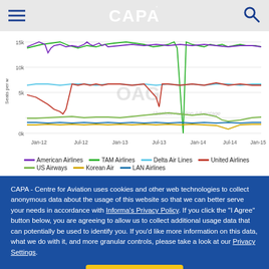CAPA
[Figure (line-chart): Seats per week by airline Jan-12 to Jan-15]
American Airlines — TAM Airlines — Delta Air Lines — United Airlines — US Airways — Korean Air — LAN Airlines
CAPA - Centre for Aviation uses cookies and other web technologies to collect anonymous data about the usage of this website so that we can better serve your needs in accordance with Informa's Privacy Policy. If you click the "I Agree" button below, you are agreeing to allow us to collect additional usage data that can potentially be used to identify you. If you'd like more information on this data, what we do with it, and more granular controls, please take a look at our Privacy Settings.